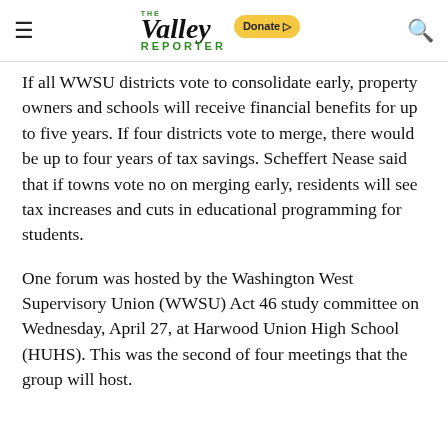THE Valley REPORTER [Donate] [menu] [search]
If all WWSU districts vote to consolidate early, property owners and schools will receive financial benefits for up to five years. If four districts vote to merge, there would be up to four years of tax savings. Scheffert Nease said that if towns vote no on merging early, residents will see tax increases and cuts in educational programming for students.
One forum was hosted by the Washington West Supervisory Union (WWSU) Act 46 study committee on Wednesday, April 27, at Harwood Union High School (HUHS). This was the second of four meetings that the group will host.